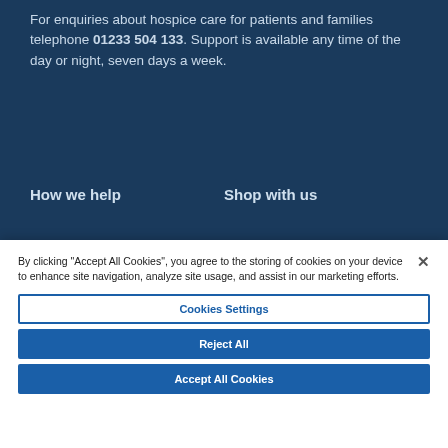For enquiries about hospice care for patients and families telephone 01233 504 133. Support is available any time of the day or night, seven days a week.
How we help
Shop with us
Get involved
About us
Events and challenges
News
By clicking "Accept All Cookies", you agree to the storing of cookies on your device to enhance site navigation, analyze site usage, and assist in our marketing efforts.
Cookies Settings
Reject All
Accept All Cookies